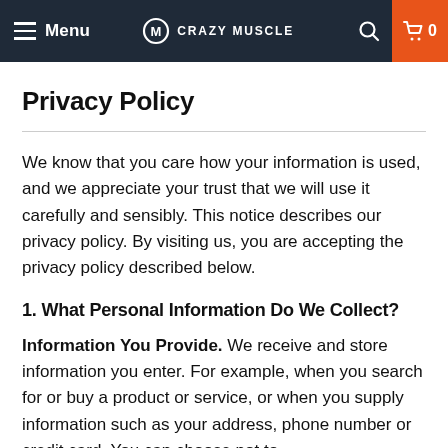Menu | CRAZY MUSCLE | 🔍 | 🛒 0
Privacy Policy
We know that you care how your information is used, and we appreciate your trust that we will use it carefully and sensibly. This notice describes our privacy policy. By visiting us, you are accepting the privacy policy described below.
1. What Personal Information Do We Collect?
Information You Provide. We receive and store information you enter. For example, when you search for or buy a product or service, or when you supply information such as your address, phone number or credit card. You can choose not to provide certain information, but then you might not be able to take advantage of many of our features.